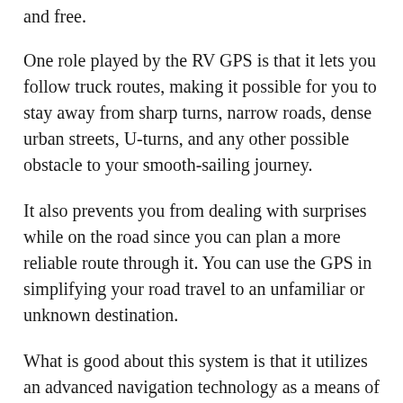and free.
One role played by the RV GPS is that it lets you follow truck routes, making it possible for you to stay away from sharp turns, narrow roads, dense urban streets, U-turns, and any other possible obstacle to your smooth-sailing journey.
It also prevents you from dealing with surprises while on the road since you can plan a more reliable route through it. You can use the GPS in simplifying your road travel to an unfamiliar or unknown destination.
What is good about this system is that it utilizes an advanced navigation technology as a means of plotting the most cost-saving and practical route to your inputted destination. You can even find some models of this system that provide turn-by-turn directions, thereby